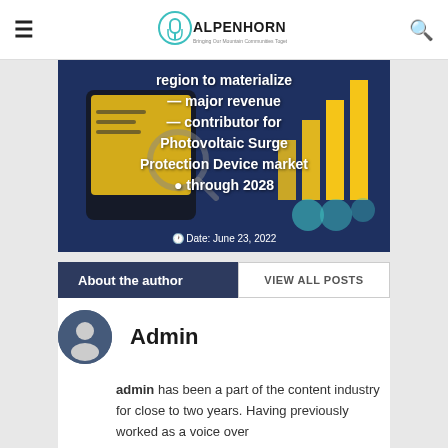ALPENHORNNEWS — Bringing Our Mountain Communities Together Since 1985
[Figure (photo): Blog post header image showing a tablet with charts and analytics graphics on a dark blue background, with overlay text about Photovoltaic Surge Protection Device market through 2028, dated June 23, 2022]
About the author
VIEW ALL POSTS
[Figure (illustration): Circular avatar icon with a person/user silhouette on dark blue-gray background]
Admin
admin has been a part of the content industry for close to two years. Having previously worked as a voice over